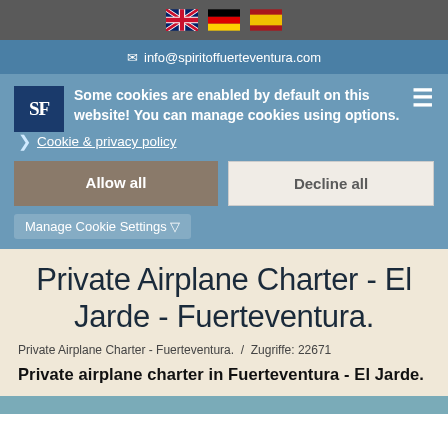[Flag icons: UK, Germany, Spain]
✉ info@spiritoffuerteventura.com
Some cookies are enabled by default on this website! You can manage cookies using options.
Cookie & privacy policy
Allow all
Decline all
Manage Cookie Settings ▽
Private Airplane Charter - El Jarde - Fuerteventura.
Private Airplane Charter - Fuerteventura.  /  Zugriffe: 22671
Private airplane charter in Fuerteventura - El Jarde.